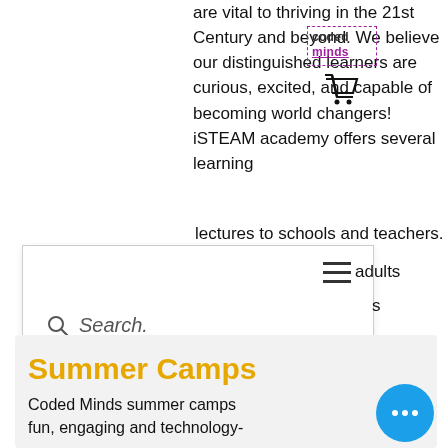are vital to thriving in the 21st Century and beyond. We believe our distinguished learners are curious, excited, and capable of becoming world changers! iSTEAM academy offers several learning
[Figure (screenshot): Coded Minds logo with purple dashed border rectangle around it, and a shopping cart icon below]
[Figure (screenshot): Search overlay with hamburger menu icon and search bar with magnifying glass icon and placeholder text 'Search.']
lectures to schools and teachers.
LEARN MORE
Summer Camps
Coded Minds summer camps fun, engaging and technology-